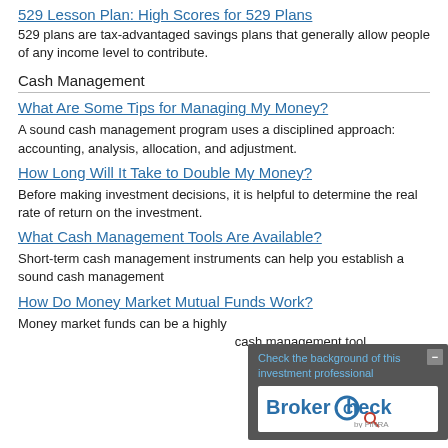529 Lesson Plan: High Scores for 529 Plans
529 plans are tax-advantaged savings plans that generally allow people of any income level to contribute.
Cash Management
What Are Some Tips for Managing My Money?
A sound cash management program uses a disciplined approach: accounting, analysis, allocation, and adjustment.
How Long Will It Take to Double My Money?
Before making investment decisions, it is helpful to determine the real rate of return on the investment.
What Cash Management Tools Are Available?
Short-term cash management instruments can help you establish a sound cash management
How Do Money Market Mutual Funds Work?
Money market funds can be a highly cash management tool.
[Figure (screenshot): BrokerCheck overlay widget showing text 'Check the background of this investment professional' with BrokerCheck by FINRA logo and a close button]